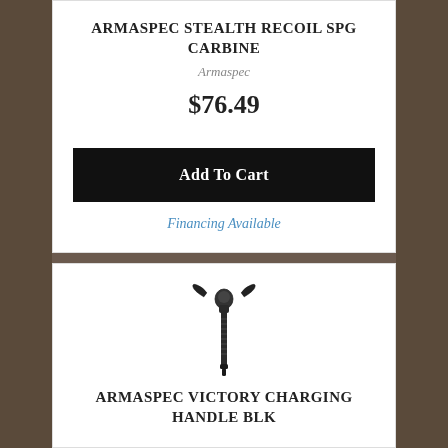ARMASPEC STEALTH RECOIL SPG CARBINE
Armaspec
$76.49
Add To Cart
Financing Available
[Figure (photo): Armaspec Victory Charging Handle BLK product photo — a black AR-style ambidextrous charging handle shown vertically]
ARMASPEC VICTORY CHARGING HANDLE BLK